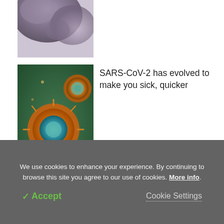[Figure (photo): Partial view of a biological/anatomical illustration (liver or organ) at top of page, cropped]
[Figure (photo): Microscope image of SARS-CoV-2 coronavirus particles, orange and teal colored, close-up]
SARS-CoV-2 has evolved to make you sick, quicker
Cornell research offers insights into CRISPR RNA-guided Caspase system
We use cookies to enhance your experience. By continuing to browse this site you agree to our use of cookies. More info.
✓ Accept
Cookie Settings